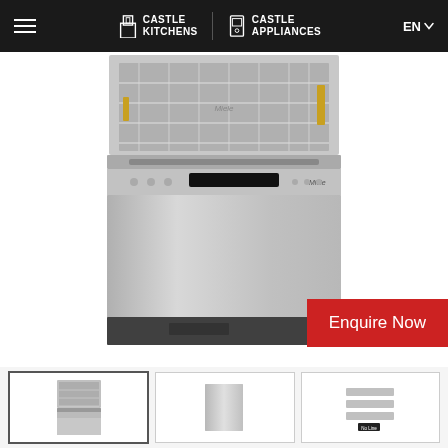Castle Kitchens | Castle Appliances | EN
[Figure (photo): Miele stainless steel freestanding dishwasher with door open showing interior basket, front control panel visible, product shot on white background]
Enquire Now
[Figure (photo): Small thumbnail of Miele dishwasher open door view, active/selected state]
[Figure (photo): Small thumbnail of dishwasher front panel close-up]
[Figure (photo): Small thumbnail showing dishwasher control panel detail with No Line text]